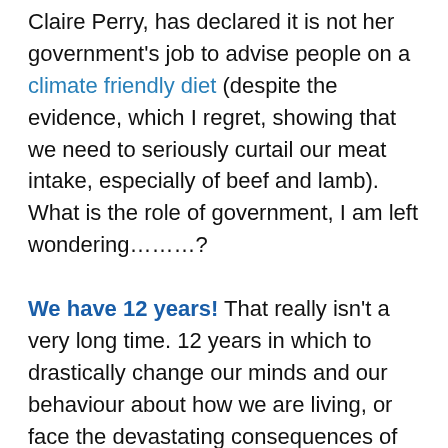Claire Perry, has declared it is not her government's job to advise people on a climate friendly diet (despite the evidence, which I regret, showing that we need to seriously curtail our meat intake, especially of beef and lamb). What is the role of government, I am left wondering………?
We have 12 years! That really isn't a very long time. 12 years in which to drastically change our minds and our behaviour about how we are living, or face the devastating consequences of the impact of climate change for ourselves, our children and our children's children.
Gandhi wrote so powerfully about the seven social sins, as he saw them: